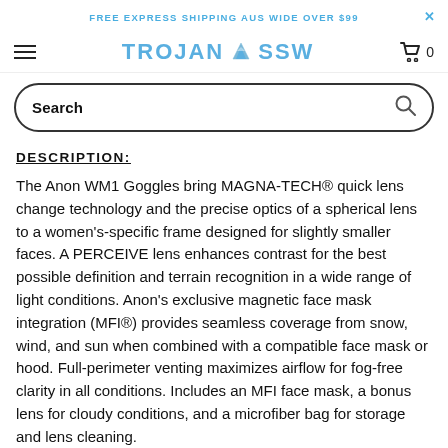FREE EXPRESS SHIPPING AUS WIDE OVER $99
[Figure (logo): TROJAN SSW logo with mountain icon]
Search
DESCRIPTION:
The Anon WM1 Goggles bring MAGNA-TECH® quick lens change technology and the precise optics of a spherical lens to a women's-specific frame designed for slightly smaller faces. A PERCEIVE lens enhances contrast for the best possible definition and terrain recognition in a wide range of light conditions. Anon's exclusive magnetic face mask integration (MFI®) provides seamless coverage from snow, wind, and sun when combined with a compatible face mask or hood. Full-perimeter venting maximizes airflow for fog-free clarity in all conditions. Includes an MFI face mask, a bonus lens for cloudy conditions, and a microfiber bag for storage and lens cleaning.